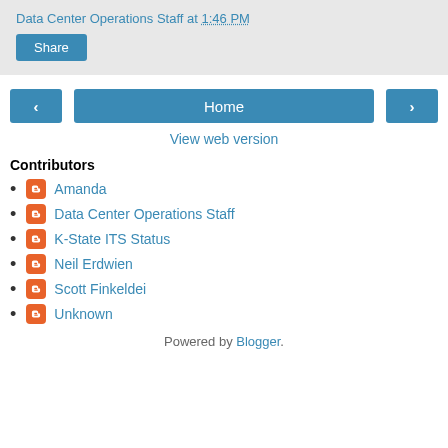Data Center Operations Staff at 1:46 PM
Share
[Figure (screenshot): Navigation buttons: left arrow, Home, right arrow]
View web version
Contributors
Amanda
Data Center Operations Staff
K-State ITS Status
Neil Erdwien
Scott Finkeldei
Unknown
Powered by Blogger.